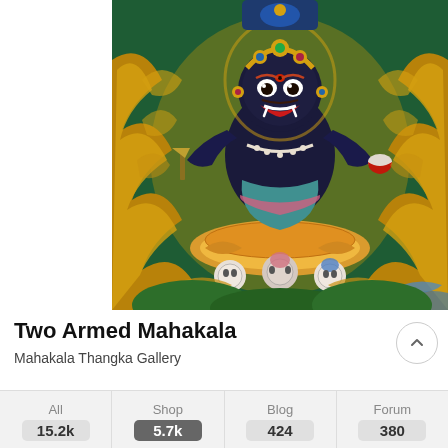[Figure (illustration): Tibetan Buddhist thangka painting of Two Armed Mahakala, a wrathful deity depicted in dark blue/black with gold ornaments, crown, multiple arms holding ritual objects, set against a dark green background with gold cloud and flame motifs, lotus throne at bottom with skull offerings.]
Two Armed Mahakala
Mahakala Thangka Gallery
| All | Shop | Blog | Forum |
| --- | --- | --- | --- |
| 15.2k | 5.7k | 424 | 380 |